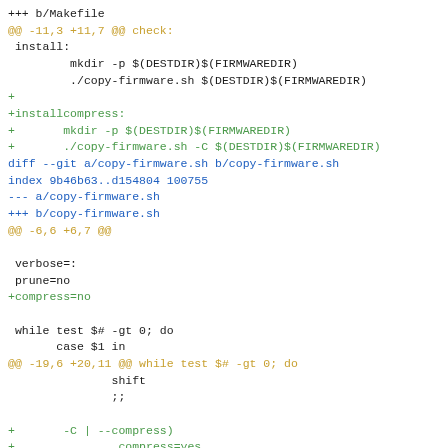Git diff output showing changes to Makefile and copy-firmware.sh, adding installcompress target and compress option handling